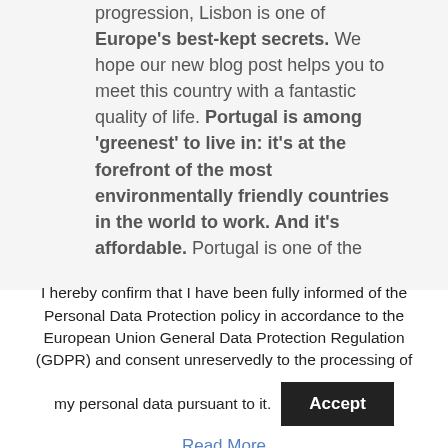progression, Lisbon is one of Europe's best-kept secrets. We hope our new blog post helps you to meet this country with a fantastic quality of life. Portugal is among 'greenest' to live in: it's at the forefront of the most environmentally friendly countries in the world to work. And it's affordable. Portugal is one of the
I hereby confirm that I have been fully informed of the Personal Data Protection policy in accordance to the European Union General Data Protection Regulation (GDPR) and consent unreservedly to the processing of my personal data pursuant to it.
Accept
Read More